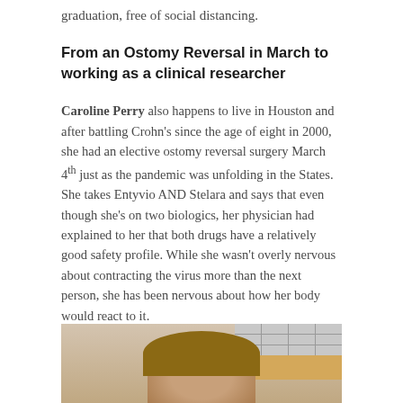graduation, free of social distancing.
From an Ostomy Reversal in March to working as a clinical researcher
Caroline Perry also happens to live in Houston and after battling Crohn’s since the age of eight in 2000, she had an elective ostomy reversal surgery March 4th just as the pandemic was unfolding in the States. She takes Entyvio AND Stelara and says that even though she’s on two biologics, her physician had explained to her that both drugs have a relatively good safety profile. While she wasn’t overly nervous about contracting the virus more than the next person, she has been nervous about how her body would react to it.
[Figure (photo): Photo of Caroline Perry in what appears to be a hospital or clinical setting, visible from the shoulders up, with medical equipment visible in the background.]